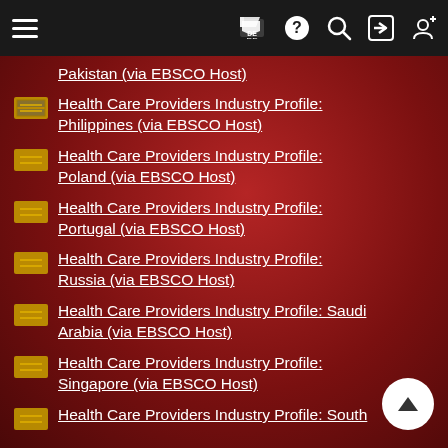Navigation bar with menu, DE flag, help, search, login, register icons
Health Care Providers Industry Profile: Pakistan (via EBSCO Host)
Health Care Providers Industry Profile: Philippines (via EBSCO Host)
Health Care Providers Industry Profile: Poland (via EBSCO Host)
Health Care Providers Industry Profile: Portugal (via EBSCO Host)
Health Care Providers Industry Profile: Russia (via EBSCO Host)
Health Care Providers Industry Profile: Saudi Arabia (via EBSCO Host)
Health Care Providers Industry Profile: Singapore (via EBSCO Host)
Health Care Providers Industry Profile: South...